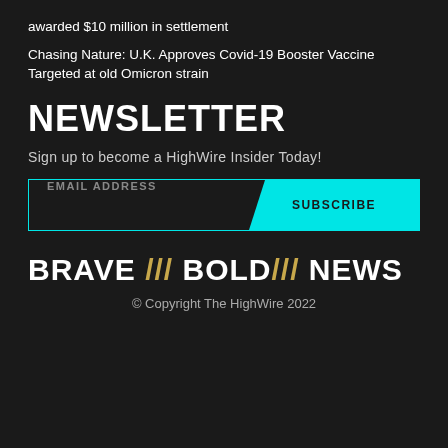awarded $10 million in settlement
Chasing Nature: U.K. Approves Covid-19 Booster Vaccine Targeted at old Omicron strain
NEWSLETTER
Sign up to become a HighWire Insider Today!
[Figure (other): Email subscription form with EMAIL ADDRESS input field and cyan SUBSCRIBE button]
BRAVE /// BOLD/// NEWS
© Copyright The HighWire 2022